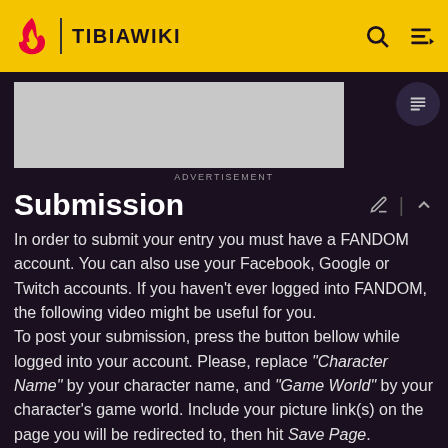TIBIAWIKI
[Figure (screenshot): Advertisement banner placeholder (gray box)]
ADVERTISEMENT
Submission
In order to submit your entry you must have a FANDOM account. You can also use your Facebook, Google or Twitch accounts. If you haven't ever logged into FANDOM, the following video might be useful for you. To post your submission, press the button bellow while logged into your account. Please, replace "Character Name" by your character name, and "Game World" by your character's game world. Include your picture link(s) on the page you will be redirected to, then hit Save Page.